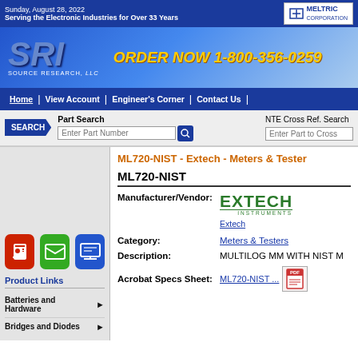Sunday, August 28, 2022 | Serving the Electronic Industries for Over 33 Years | MELTRIC CORPORATION
[Figure (logo): SRI Source Research LLC logo with ORDER NOW 1-800-356-0259]
Home | View Account | Engineer's Corner | Contact Us
SEARCH | Part Search | Enter Part Number | NTE Cross Ref. Search | Enter Part to Cross
ML720-NIST - Extech - Meters & Testers
ML720-NIST
Manufacturer/Vendor: EXTECH INSTRUMENTS | Extech
Category: Meters & Testers
Description: MULTILOG MM WITH NIST
Acrobat Specs Sheet: ML720-NIST ...
Batteries and Hardware
Bridges and Diodes